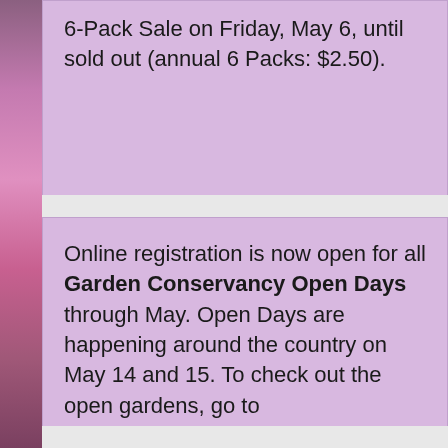6-Pack Sale on Friday, May 6, until sold out (annual 6 Packs: $2.50).
Online registration is now open for all Garden Conservancy Open Days through May. Open Days are happening around the country on May 14 and 15. To check out the open gardens, go to https://www.gardenconservancy.org/events events.